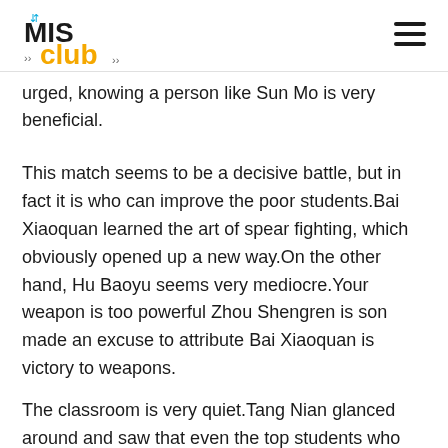MIS club
urged, knowing a person like Sun Mo is very beneficial.
This match seems to be a decisive battle, but in fact it is who can improve the poor students.Bai Xiaoquan learned the art of spear fighting, which obviously opened up a new way.On the other hand, Hu Baoyu seems very mediocre.Your weapon is too powerful Zhou Shengren is son made an excuse to attribute Bai Xiaoquan is victory to weapons.
The classroom is very quiet.Tang Nian glanced around and saw that even the top students who had taken many famous teacher courses were all attentively and listening carefully at this time.
Is it a top grade spirit tool This was the first thing MIS